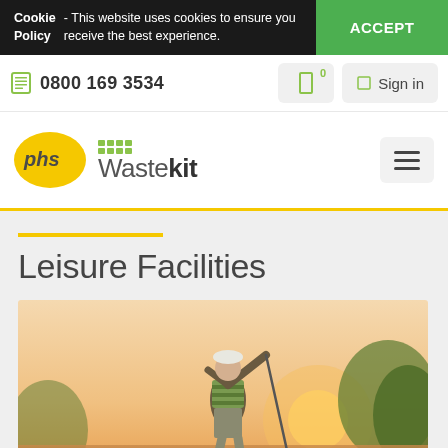Cookie Policy - This website uses cookies to ensure you receive the best experience.
ACCEPT
0800 169 3534
Sign in
[Figure (logo): phs Wastekit logo with yellow oval and grid icon]
Leisure Facilities
[Figure (photo): Golfer swinging a golf club at sunset with trees in background]